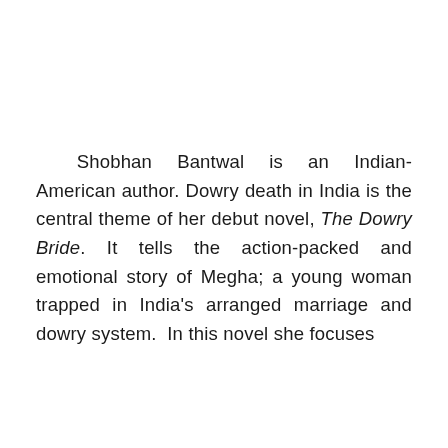Shobhan Bantwal is an Indian-American author. Dowry death in India is the central theme of her debut novel, The Dowry Bride. It tells the action-packed and emotional story of Megha; a young woman trapped in India's arranged marriage and dowry system.  In this novel she focuses